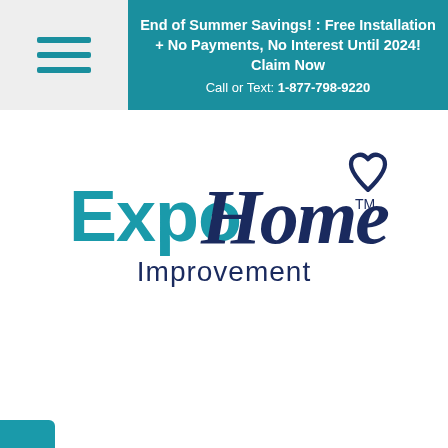End of Summer Savings! : Free Installation + No Payments, No Interest Until 2024! Claim Now
Call or Text: 1-877-798-9220
[Figure (logo): Expo Home Improvement logo with teal 'Expo' text, dark navy 'Home' script with a heart shape, trademark symbol, and 'Improvement' text below]